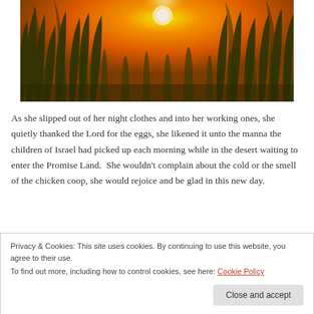[Figure (photo): Sunset over tall grass field with golden orange sky and bright sun]
As she slipped out of her night clothes and into her working ones, she quietly thanked the Lord for the eggs, she likened it unto the manna the children of Israel had picked up each morning while in the desert waiting to enter the Promise Land.  She wouldn't complain about the cold or the smell of the chicken coop, she would rejoice and be glad in this new day.
Privacy & Cookies: This site uses cookies. By continuing to use this website, you agree to their use.
To find out more, including how to control cookies, see here: Cookie Policy